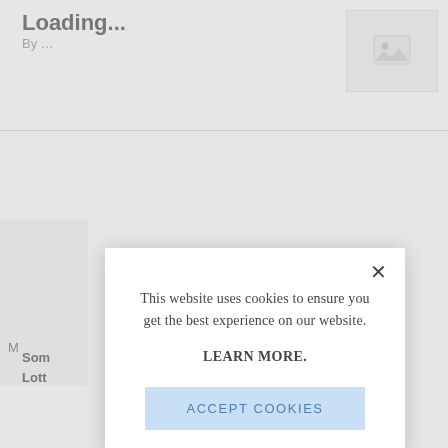Loading...
By ...
[Figure (photo): Image placeholder with mountain/landscape icon]
M
Som
Lott
This website uses cookies to ensure you get the best experience on our website.

LEARN MORE.

ACCEPT COOKIES